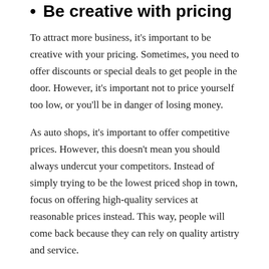Be creative with pricing
To attract more business, it's important to be creative with your pricing. Sometimes, you need to offer discounts or special deals to get people in the door. However, it's important not to price yourself too low, or you'll be in danger of losing money.
As auto shops, it's important to offer competitive prices. However, this doesn't mean you should always undercut your competitors. Instead of simply trying to be the lowest priced shop in town, focus on offering high-quality services at reasonable prices instead. This way, people will come back because they can rely on quality artistry and service.
Invest in the customer experience
Auto shop owners should also invest in the customer experience. This means improving your services and amenities, offering better